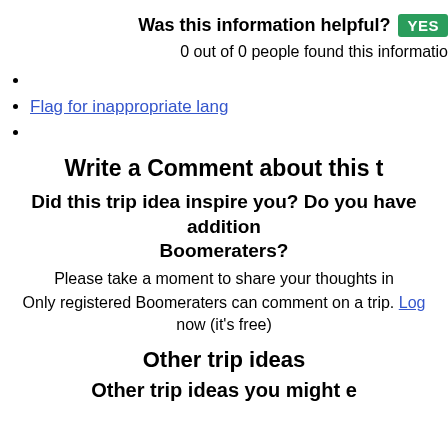Was this information helpful? YES
0 out of 0 people found this information helpful
Flag for inappropriate language
Write a Comment about this t
Did this trip idea inspire you? Do you have addition Boomeraters?
Please take a moment to share your thoughts in
Only registered Boomeraters can comment on a trip. Log now (it's free)
Other trip ideas
Other trip ideas you might e